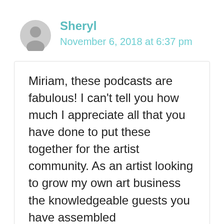[Figure (illustration): Gray default user avatar icon (silhouette of a person)]
Sheryl
November 6, 2018 at 6:37 pm
Miriam, these podcasts are fabulous! I can't tell you how much I appreciate all that you have done to put these together for the artist community. As an artist looking to grow my own art business the knowledgeable guests you have assembled